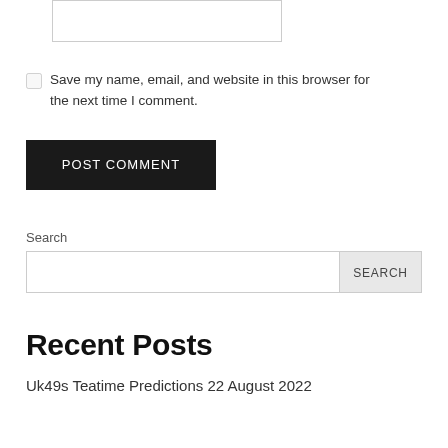[textarea input box]
Save my name, email, and website in this browser for the next time I comment.
POST COMMENT
Search
SEARCH
Recent Posts
Uk49s Teatime Predictions 22 August 2022